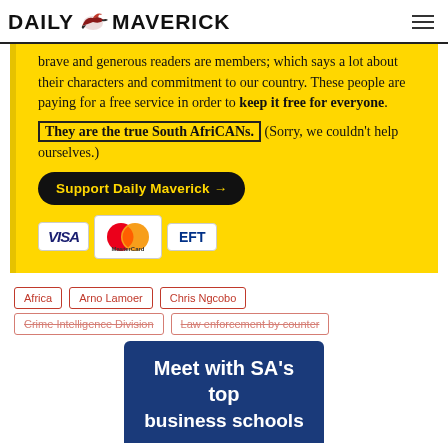DAILY MAVERICK
brave and generous readers are members; which says a lot about their characters and commitment to our country. These people are paying for a free service in order to keep it free for everyone.
They are the true South AfriCANs. (Sorry, we couldn't help ourselves.)
Support Daily Maverick →
[Figure (other): Payment method icons: VISA, MasterCard, EFT]
Africa
Arno Lamoer
Chris Ngcobo
Crime Intelligence Division
Law enforcement by counter
[Figure (other): Blue banner: Meet with SA's top business schools]